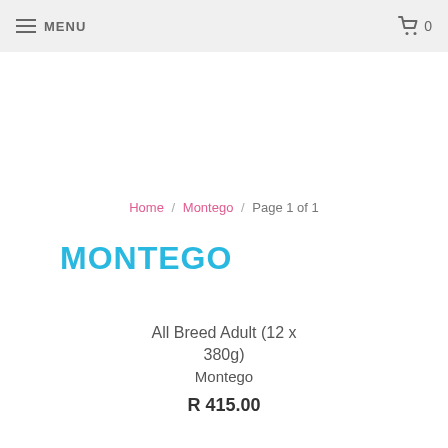MENU   🛒 0
Home / Montego / Page 1 of 1
MONTEGO
All Breed Adult (12 x 380g)
Montego
R 415.00